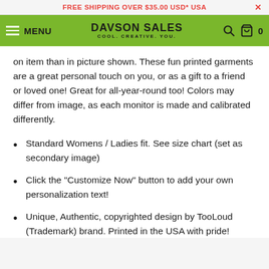FREE SHIPPING OVER $35.00 USD* USA
[Figure (screenshot): Davson Sales website navigation bar with hamburger menu, MENU text, DAVSON SALES logo, search icon, cart icon, and 0 item count]
on item than in picture shown. These fun printed garments are a great personal touch on you, or as a gift to a friend or loved one! Great for all-year-round too! Colors may differ from image, as each monitor is made and calibrated differently.
Standard Womens / Ladies fit. See size chart (set as secondary image)
Click the "Customize Now" button to add your own personalization text!
Unique, Authentic, copyrighted design by TooLoud (Trademark) brand. Printed in the USA with pride!